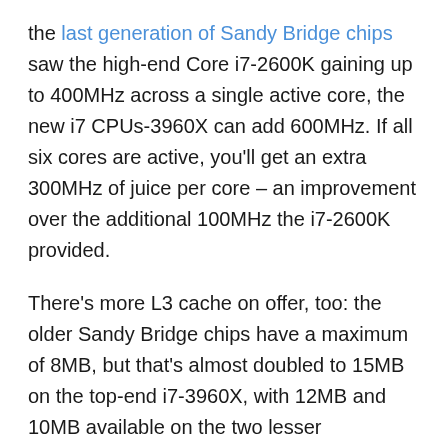the last generation of Sandy Bridge chips saw the high-end Core i7-2600K gaining up to 400MHz across a single active core, the new i7 CPUs-3960X can add 600MHz. If all six cores are active, you'll get an extra 300MHz of juice per core – an improvement over the additional 100MHz the i7-2600K provided.
There's more L3 cache on offer, too: the older Sandy Bridge chips have a maximum of 8MB, but that's almost doubled to 15MB on the top-end i7-3960X, with 12MB and 10MB available on the two lesser processors.
Chipset changes